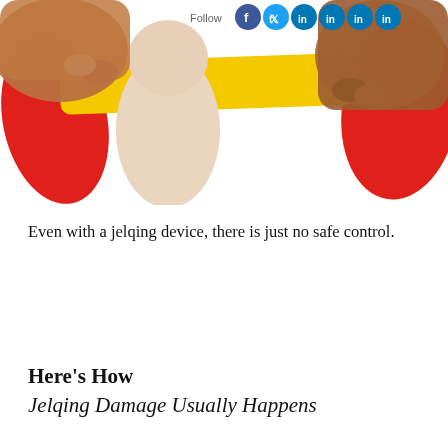[Figure (photo): Photo of hands demonstrating a jelqing device — a red plastic oval frame with yellow bar, holding a flesh-colored model. Social media icons (Follow, Facebook, Twitter, LinkedIn x4) visible at top.]
Even with a jelqing device, there is just no safe control.
Here’s How
Jelqing Damage Usually Happens